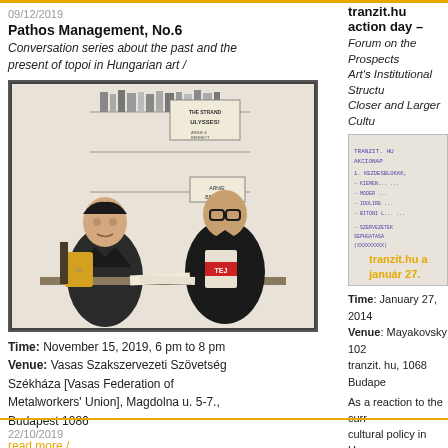09/12/2019
Pathos Management, No.6
Conversation series about the past and the present of topoi in Hungarian art /
[Figure (photo): Black and white illustration/drawing of two men in suits sitting at a desk with books in the background and canned goods on the table]
Time: November 15, 2019, 6 pm to 8 pm
Venue: Vasas Szakszervezeti Szövetség Székháza [Vasas Federation of Metalworkers' Union], Magdolna u. 5-7., Budapest 1086
read more /
tranzit.hu action day –
Forum on the Prospects Art's Institutional Structu Closer and Larger Cultu
[Figure (photo): Handwritten notes on paper with tranzit.hu action day overlay text and date január 27.]
Time: January 27, 2014
Venue: Mayakovsky 102 tranzit. hu, 1068 Budape
As a reaction to the curr cultural policy in Hunga a forum, engaging also o of contemporary visual a
read more /
22/10/2019